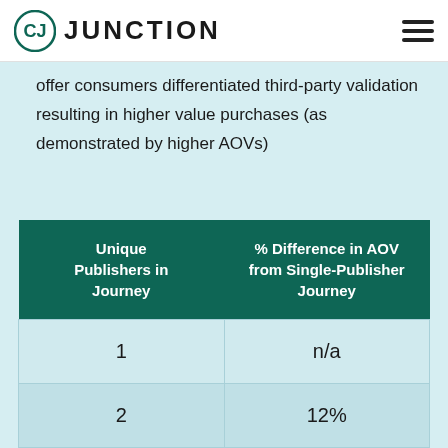CJ JUNCTION
offer consumers differentiated third-party validation resulting in higher value purchases (as demonstrated by higher AOVs)
| Unique Publishers in Journey | % Difference in AOV from Single-Publisher Journey |
| --- | --- |
| 1 | n/a |
| 2 | 12% |
| 3 | ... |